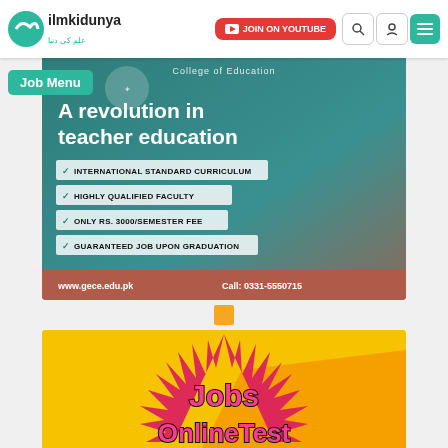ilmkidunya | JOIN ON YOUTUBE
Job Menu
[Figure (infographic): College of Education advertisement banner: 'A revolution in teacher education' with checklist: International Standard Curriculum, Highly Qualified Faculty, Only RS. 3000/Semester Fee, Guaranteed Job Upon Graduation. Website: www.gece.edu.pk, Call: 0331-5550715]
[Figure (infographic): Jobs Online Test promotional banner with yellow background, starburst graphic, pink graffiti-style text reading 'Jobs Online Test']